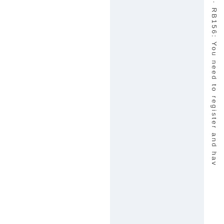· RB156: You need to register and hav